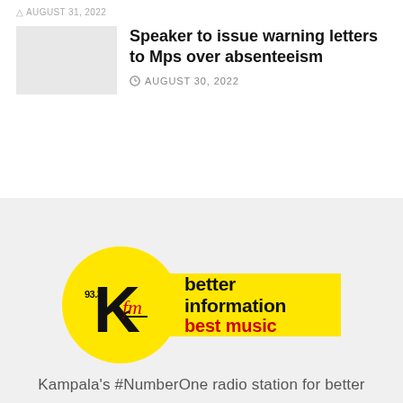AUGUST 31, 2022
Speaker to issue warning letters to Mps over absenteeism
AUGUST 30, 2022
[Figure (logo): 93.3 KFM Radio logo — yellow circle with large black K and red fm script, yellow rectangle with text 'better information best music']
Kampala's #NumberOne radio station for better